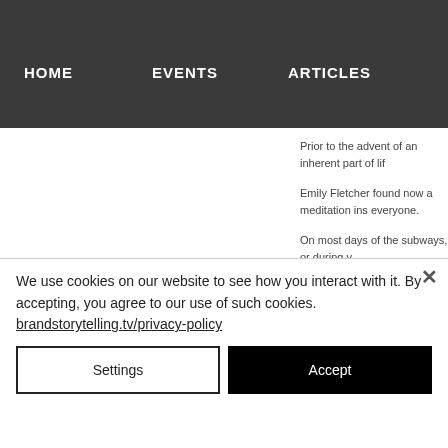HOME   EVENTS   ARTICLES
Prior to the advent of an inherent part of lif
Emily Fletcher found now a meditation ins everyone.
On most days of the subways, or during v
We use cookies on our website to see how you interact with it. By accepting, you agree to our use of such cookies. brandstorytelling.tv/privacy-policy